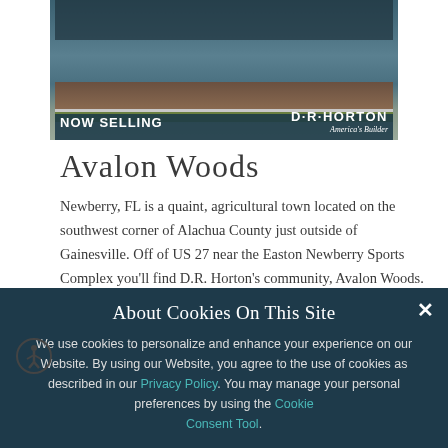[Figure (photo): Photograph of a residential home exterior with landscaping, shown as a banner image with dark teal background. 'NOW SELLING' text overlay on left and D.R. Horton America's Builder logo on right.]
Avalon Woods
Newberry, FL is a quaint, agricultural town located on the southwest corner of Alachua County just outside of Gainesville. Off of US 27 near the Easton Newberry Sports Complex you'll find D.R. Horton's community, Avalon Woods.
READ MORE
About Cookies On This Site
We use cookies to personalize and enhance your experience on our Website. By using our Website, you agree to the use of cookies as described in our Privacy Policy. You may manage your personal preferences by using the Cookie Consent Tool.